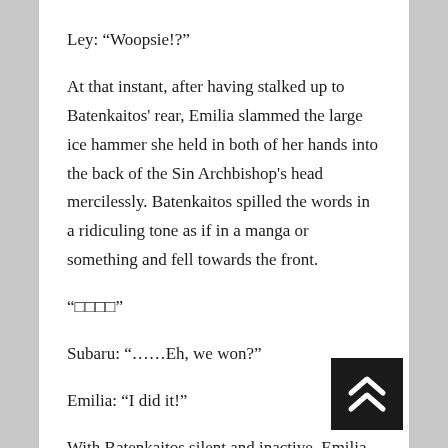Ley: “Woopsie!?”
At that instant, after having stalked up to Batenkaitos' rear, Emilia slammed the large ice hammer she held in both of her hands into the back of the Sin Archbishop's head mercilessly. Batenkaitos spilled the words in a ridiculing tone as if in a manga or something and fell towards the front.
“□□□□”
Subaru: “……Eh, we won?”
Emilia: “I did it!”
With Batenkaitos silent and inactive, Emilia made a triumphant pose with her fist clenched. Only after